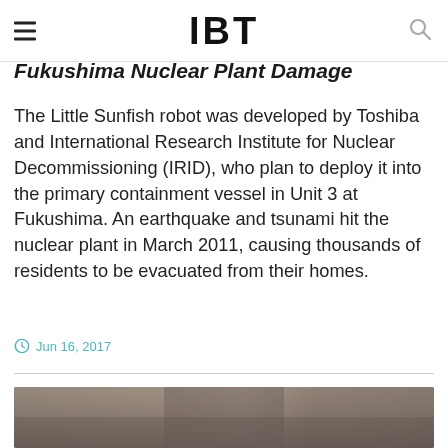IBT
Fukushima Nuclear Plant Damage
The Little Sunfish robot was developed by Toshiba and International Research Institute for Nuclear Decommissioning (IRID), who plan to deploy it into the primary containment vessel in Unit 3 at Fukushima. An earthquake and tsunami hit the nuclear plant in March 2011, causing thousands of residents to be evacuated from their homes.
Jun 16, 2017
[Figure (photo): Blurred/obscured photograph with brownish-grey tones, likely showing interior of Fukushima nuclear plant or related subject matter.]